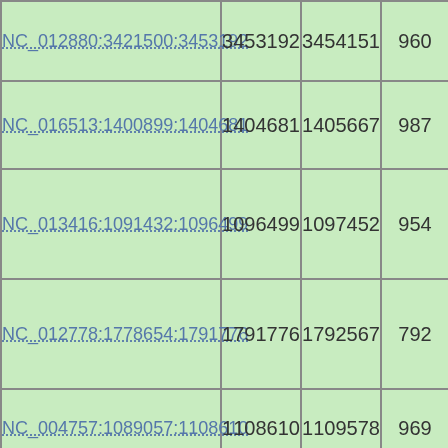|  |  |  |  |
| --- | --- | --- | --- |
| NC_012880:3421500:3453192 | 3453192 | 3454151 | 960 |
| NC_016513:1400899:1404681 | 1404681 | 1405667 | 987 |
| NC_013416:1091432:1096499 | 1096499 | 1097452 | 954 |
| NC_012778:1778654:1791776 | 1791776 | 1792567 | 792 |
| NC_004757:1089057:1108610 | 1108610 | 1109578 | 969 |
| NC_012517:1822026:1824799 | 1824799 | 1825734 | 945 |